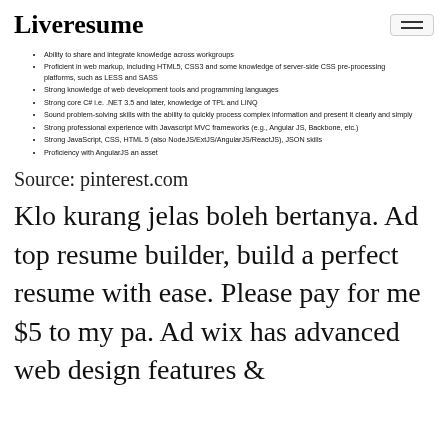Liveresume
[Figure (screenshot): Screenshot of a resume bullet point list with items about abilities and skills in web development, HTML5, CSS3, LESS, SASS, C#, .NET, TPL, LINQ, JavaScript MVC frameworks, AngularJS, NodeJS, ExtJS, ReactJS, JSON.]
Source: pinterest.com
Klo kurang jelas boleh bertanya. Ad top resume builder, build a perfect resume with ease. Please pay for me $5 to my pa. Ad wix has advanced web design features &